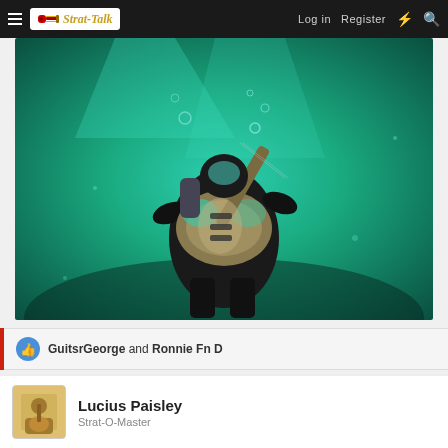Strat-Talk — Login | Register
[Figure (photo): Scuba diver underwater holding and playing a Stratocaster-style electric guitar, greenish underwater light]
GuitsrGeorge and Ronnie Fn D
Lucius Paisley
Strat-O-Master